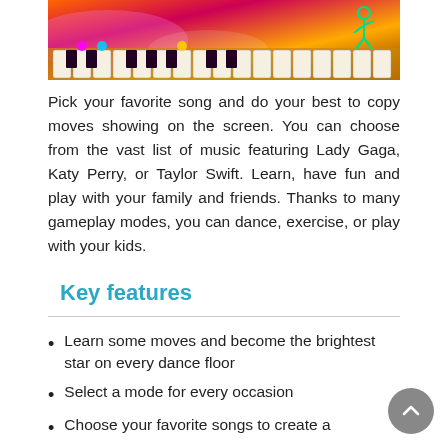[Figure (screenshot): Colorful game screenshot showing piano keys with neon lighting and a green stick figure dancer on the right side against an orange/red/purple gradient background]
Pick your favorite song and do your best to copy moves showing on the screen. You can choose from the vast list of music featuring Lady Gaga, Katy Perry, or Taylor Swift. Learn, have fun and play with your family and friends. Thanks to many gameplay modes, you can dance, exercise, or play with your kids.
Key features
Learn some moves and become the brightest star on every dance floor
Select a mode for every occasion
Choose your favorite songs to create a